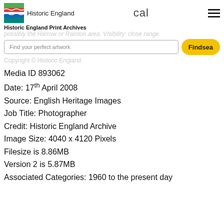Historic England | cal ☰
Historic England Print Archives
possibly the Harrow or Rainton area. Visibility: close range.
Find your perfect artwork   Find sea
Copyright © Historic England
Media ID 893062
Date: 17th April 2008
Source: English Heritage Images
Job Title: Photographer
Credit: Historic England Archive
Image Size: 4040 x 4120 Pixels
Filesize is 8.86MB
Version 2 is 5.87MB
Associated Categories: 1960 to the present day